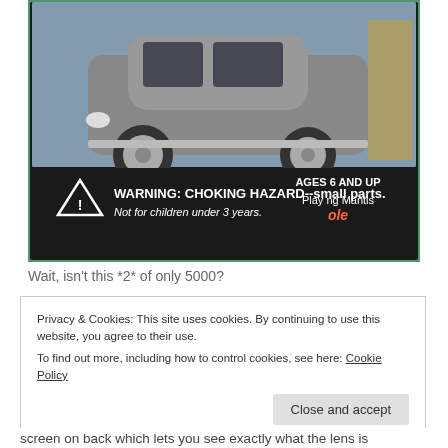[Figure (photo): A die-cast toy car (silver/gray classic car from approximately 1950s era) in original Playing Mantis packaging. The bottom of the packaging shows a warning label: 'WARNING: CHOKING HAZARD--small parts. Not for children under 3 years.' and 'AGES 6 AND UP' with Playing Mantis logo.]
Wait, isn’t this *2* of only 5000?
Privacy & Cookies: This site uses cookies. By continuing to use this website, you agree to their use.
To find out more, including how to control cookies, see here: Cookie Policy
Close and accept
screen on back which lets you see exactly what the lens is